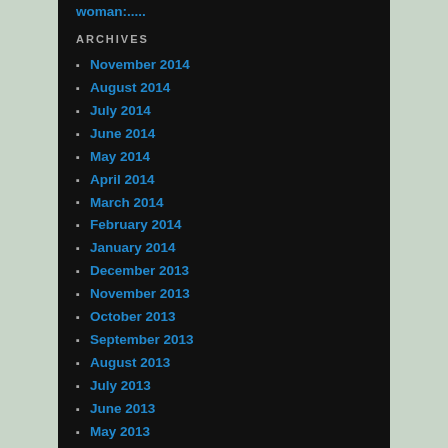woman:.....
ARCHIVES
November 2014
August 2014
July 2014
June 2014
May 2014
April 2014
March 2014
February 2014
January 2014
December 2013
November 2013
October 2013
September 2013
August 2013
July 2013
June 2013
May 2013
April 2013